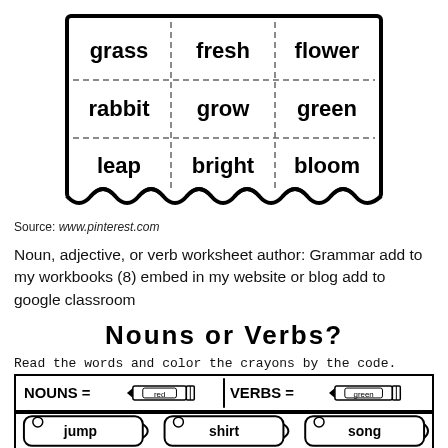[Figure (illustration): A word card grid with scalloped/wavy border containing 9 words in a 3x3 dashed-border grid: grass, fresh, flower, rabbit, grow, green, leap, bright, bloom]
Source: www.pinterest.com
Noun, adjective, or verb worksheet author: Grammar add to my workbooks (8) embed in my website or blog add to google classroom
Nouns or Verbs?
Read the words and color the crayons by the code.
[Figure (illustration): Legend box showing NOUNS = red crayon illustration, VERBS = green crayon illustration]
[Figure (illustration): Partial view of crayon-shaped word cards showing: jump, shirt, song]